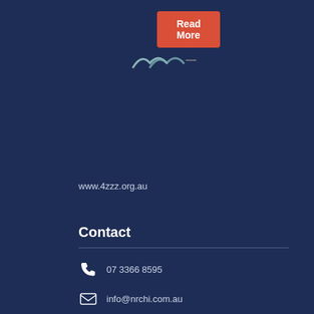Read More
[Figure (logo): 4ZZZ radio station logo - stylized wave/mountain shapes in teal and grey]
www.4zzz.org.au
Contact
07 3366 8595
info@nrchi.com.au